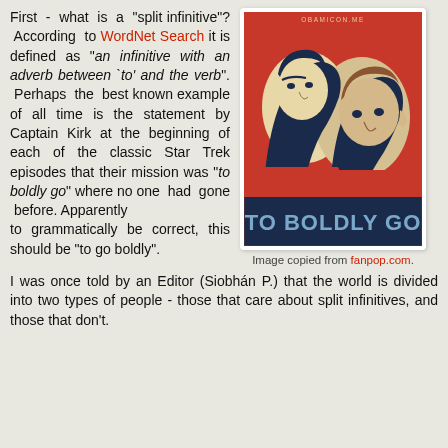First - what is a "split infinitive"? According to WordNet Search it is defined as "an infinitive with an adverb between `to' and the verb". Perhaps the best known example of all time is the statement by Captain Kirk at the beginning of each of the classic Star Trek episodes that their mission was "to boldly go" where no one had gone before. Apparently to grammatically be correct, this should be "to go boldly".
[Figure (illustration): A Star Trek movie poster-style illustration showing Spock and Kirk in red/blue/cream tones with text 'TO BOLDLY GO' at the bottom, watermarked 'OBAMICON.ME']
Image copied from fanpop.com.
I was once told by an Editor (Siobhán P.) that the world is divided into two types of people - those that care about split infinitives, and those that don't.